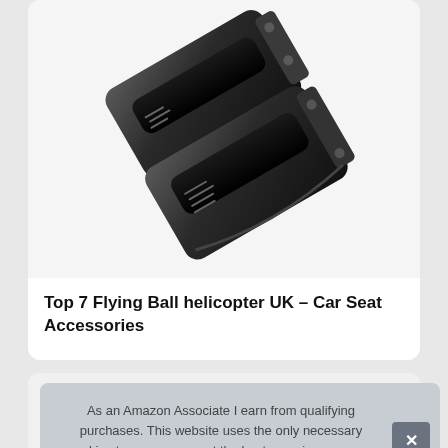[Figure (photo): Black plastic car seat accessory / holder product photograph on white background]
Top 7 Flying Ball helicopter UK – Car Seat Accessories
As an Amazon Associate I earn from qualifying purchases. This website uses the only necessary cookies to ensure you get the best experience on our website. More information